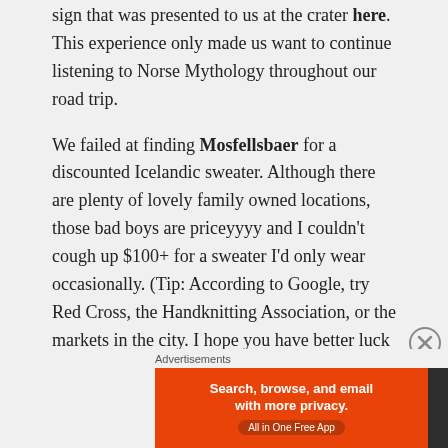sign that was presented to us at the crater here. This experience only made us want to continue listening to Norse Mythology throughout our road trip.
We failed at finding Mosfellsbaer for a discounted Icelandic sweater. Although there are plenty of lovely family owned locations, those bad boys are priceyyyy and I couldn't cough up $100+ for a sweater I'd only wear occasionally. (Tip: According to Google, try Red Cross, the Handknitting Association, or the markets in the city. I hope you have better luck that I did!)
Because we had a lot of leeway with our itinerary we decided to head north-west and stay at a camping ground in Olafsvik — but a blizzard had other plans for
Advertisements
[Figure (other): DuckDuckGo advertisement banner: orange left panel with text 'Search, browse, and email with more privacy. All in One Free App' and dark right panel with DuckDuckGo duck logo.]